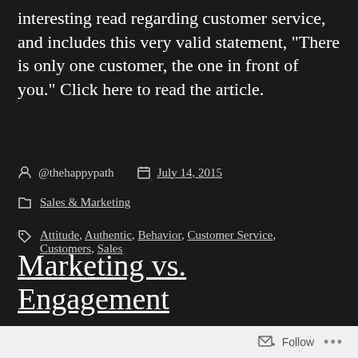interesting read regarding customer service, and includes this very valid statement, “There is only one customer, the one in front of you.” Click here to read the article.
@thehappypath   July 14, 2015
Sales & Marketing
Attitude, Authentic, Behavior, Customer Service, Customers, Sales
Marketing vs. Engagement
Follow ...